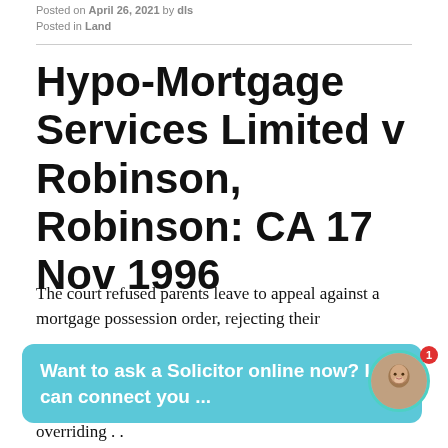Posted on April 26, 2021 by dls
Posted in Land
Hypo-Mortgage Services Limited v Robinson, Robinson: CA 17 Nov 1996
The court refused parents leave to appeal against a mortgage possession order, rejecting their overriding . .
[Figure (screenshot): Chat widget overlay with teal background reading 'Want to ask a Solicitor online now? I can connect you ...' with a circular avatar photo of a smiling woman with a red badge showing '1']
[Figure (photo): Advertisement for INCERUNMEN men's clothing brand showing a male model in white shirt and black pants against a pink/dark background. Labeled 'Ad' below.]